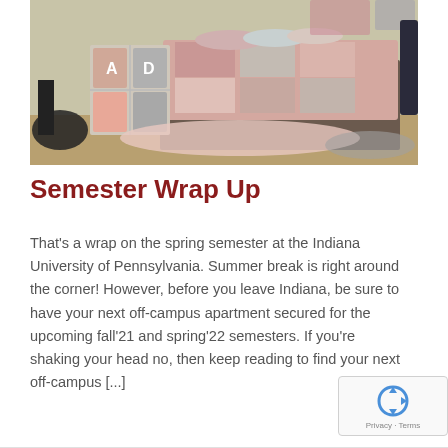[Figure (photo): A dorm or off-campus apartment bedroom with a bed covered in a pink/floral comforter, a cube organizer with pink and grey bins, a furry rug, and posters on the wall. A black chair is visible on the left.]
Semester Wrap Up
That's a wrap on the spring semester at the Indiana University of Pennsylvania. Summer break is right around the corner! However, before you leave Indiana, be sure to have your next off-campus apartment secured for the upcoming fall'21 and spring'22 semesters. If you're shaking your head no, then keep reading to find your next off-campus [...]